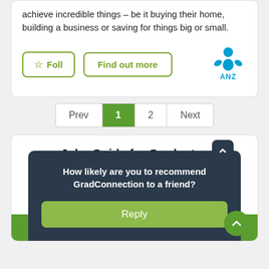achieve incredible things – be it buying their home, building a business or saving for things big or small.
[Figure (logo): ANZ bank logo — blue stylized figure with ANZ text]
Prev 1 2 Next (pagination)
Jobs Guide for Graduates
Everything you need to know to secure your first internship or graduate job.
How likely are you to recommend GradConnection to a friend?
Reply